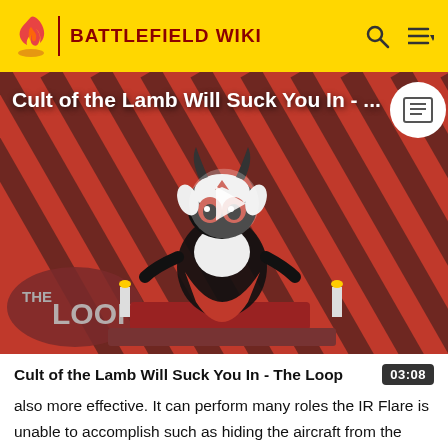BATTLEFIELD WIKI
[Figure (screenshot): Video thumbnail for 'Cult of the Lamb Will Suck You In - The Loop' showing a cartoon lamb character with red eyes on a striped red-black background with 'THE LOOP' branding and a play button overlay]
Cult of the Lamb Will Suck You In - The Loop
also more effective. It can perform many roles the IR Flare is unable to accomplish such as hiding the aircraft from the minimap for a brief period of time, break weapon lock, spoof missiles but also generates glare and a smoke